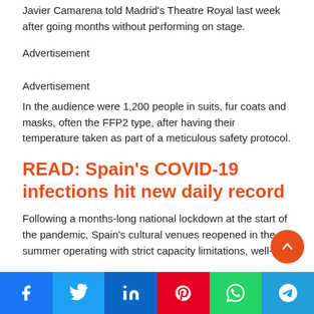Javier Camarena told Madrid's Theatre Royal last week after going months without performing on stage.
Advertisement
Advertisement
In the audience were 1,200 people in suits, fur coats and masks, often the FFP2 type, after having their temperature taken as part of a meticulous safety protocol.
READ: Spain's COVID-19 infections hit new daily record
Following a months-long national lockdown at the start of the pandemic, Spain's cultural venues reopened in the summer operating with strict capacity limitations, well-